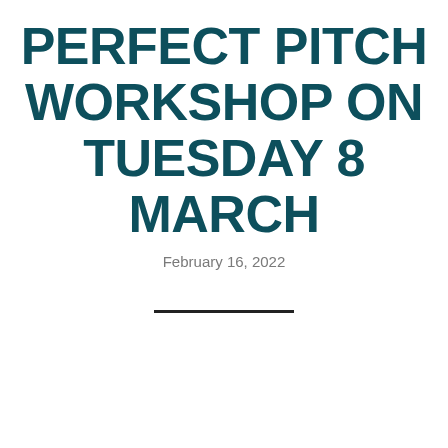PERFECT PITCH WORKSHOP ON TUESDAY 8 MARCH
February 16, 2022